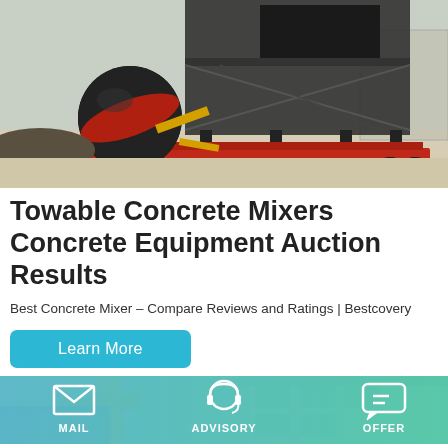[Figure (photo): A towable concrete mixer on a red flatbed trailer, parked at a construction site with aggregate piles and a concrete batching plant in the background.]
Towable Concrete Mixers Concrete Equipment Auction Results
Best Concrete Mixer – Compare Reviews and Ratings | Bestcovery
Learn More
[Figure (photo): Partial view of another construction equipment image showing a yellow crane arm and a building, cut off at the bottom of the page.]
MAIL   ADVISORY   OFFER